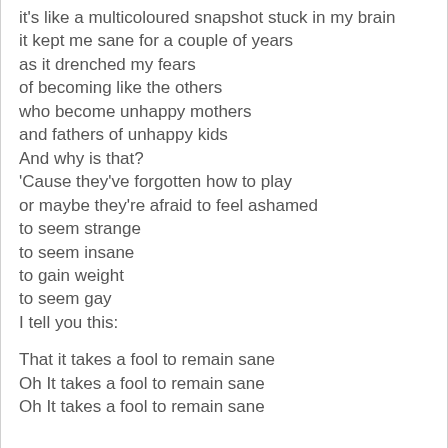it's like a multicoloured snapshot stuck in my brain
it kept me sane for a couple of years
as it drenched my fears
of becoming like the others
who become unhappy mothers
and fathers of unhappy kids
And why is that?
'Cause they've forgotten how to play
or maybe they're afraid to feel ashamed
to seem strange
to seem insane
to gain weight
to seem gay
I tell you this:

That it takes a fool to remain sane
Oh It takes a fool to remain sane
Oh It takes a fool to remain sane